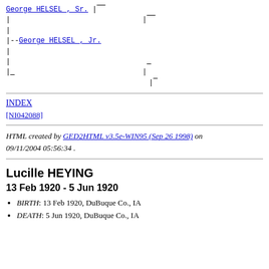[Figure (other): Genealogy tree diagram showing George HELSEL, Sr. at top connected by lines to George HELSEL, Jr. with additional bracket lines for spouse/parent connections]
INDEX
[NI042088]
HTML created by GED2HTML v3.5e-WIN95 (Sep 26 1998) on 09/11/2004 05:56:34 .
Lucille HEYING
13 Feb 1920 - 5 Jun 1920
BIRTH: 13 Feb 1920, DuBuque Co., IA
DEATH: 5 Jun 1920, DuBuque Co., IA